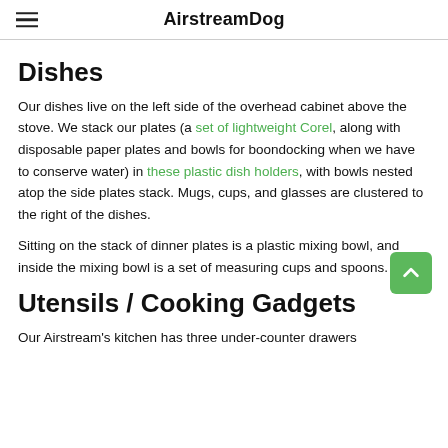AirstreamDog
Dishes
Our dishes live on the left side of the overhead cabinet above the stove. We stack our plates (a set of lightweight Corel, along with disposable paper plates and bowls for boondocking when we have to conserve water) in these plastic dish holders, with bowls nested atop the side plates stack. Mugs, cups, and glasses are clustered to the right of the dishes.
Sitting on the stack of dinner plates is a plastic mixing bowl, and inside the mixing bowl is a set of measuring cups and spoons.
Utensils / Cooking Gadgets
Our Airstream's kitchen has three under-counter drawers